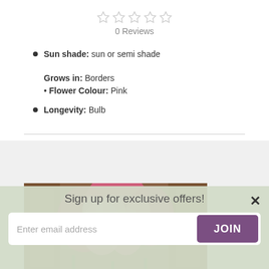[Figure (other): Five empty star rating icons indicating 0 stars]
0 Reviews
Sun shade: sun or semi shade  •  Grows in: Borders  •  Flower Colour: Pink
Longevity: Bulb
[Figure (photo): Photograph of pink lily flowers in bloom near wooden doors]
Sign up for exclusive offers!
Enter email address
JOIN